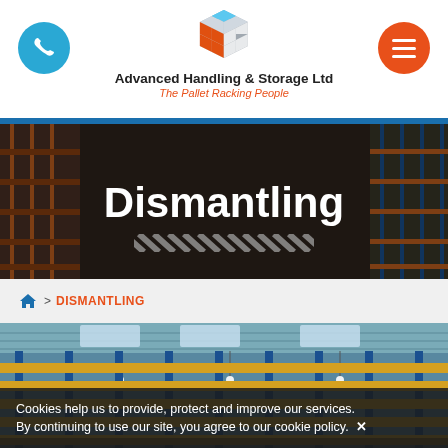[Figure (logo): Advanced Handling & Storage Ltd logo — a Rubik's cube style icon with blue, orange, and white squares]
Advanced Handling & Storage Ltd
The Pallet Racking People
[Figure (photo): Warehouse interior with blue and orange pallet racking systems, showing the word Dismantling overlaid in white bold text, with diagonal hazard stripe decoration below it]
> DISMANTLING
[Figure (photo): Warehouse interior with blue vertical racking frames and yellow horizontal beams/shelving, photographed from below looking up toward a corrugated metal roof with skylights]
Cookies help us to provide, protect and improve our services. By continuing to use our site, you agree to our cookie policy.  ✕